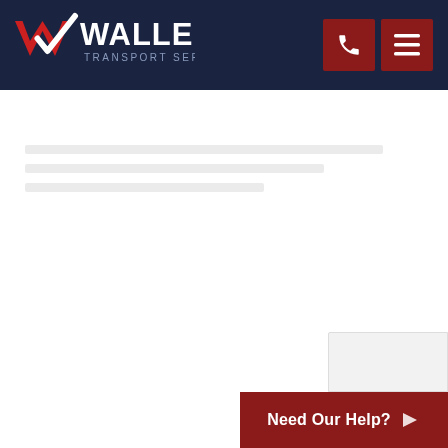Waller Transport Services — Navigation header with logo, phone button, and menu button
[Figure (screenshot): White partial popup or card element in bottom-right area]
Need Our Help?